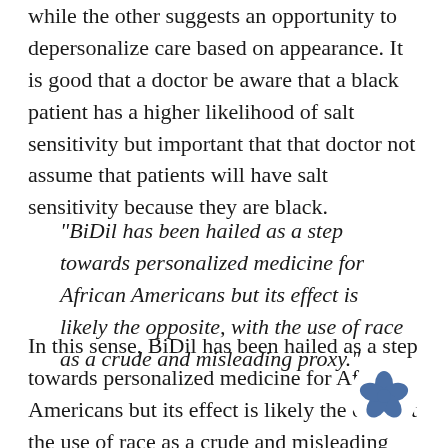while the other suggests an opportunity to depersonalize care based on appearance. It is good that a doctor be aware that a black patient has a higher likelihood of salt sensitivity but important that that doctor not assume that patients will have salt sensitivity because they are black.
"BiDil has been hailed as a step towards personalized medicine for African Americans but its effect is likely the opposite, with the use of race as a crude and misleading proxy."
In this sense, BiDil has been hailed as a step towards personalized medicine for African Americans but its effect is likely the opposit the use of race as a crude and misleading proxy for